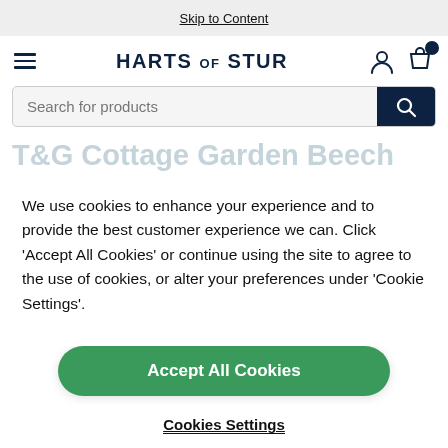Skip to Content
[Figure (logo): HARTS of STUR logo with hamburger menu, user icon, and bag icon with notification badge]
Search for products
T&G Cottage Garden Beech (ghost/background text)
We use cookies to enhance your experience and to provide the best customer experience we can. Click 'Accept All Cookies' or continue using the site to agree to the use of cookies, or alter your preferences under 'Cookie Settings'.
Accept All Cookies
Cookies Settings